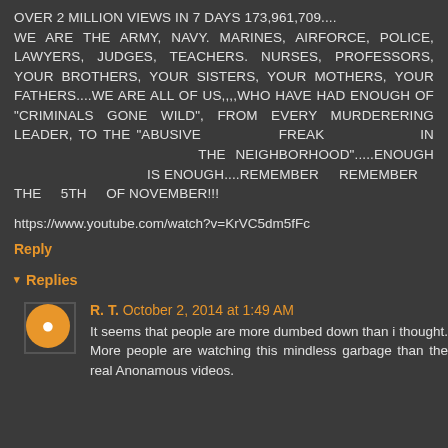OVER 2 MILLION VIEWS IN 7 DAYS 173,961,709.... WE ARE THE ARMY, NAVY. MARINES, AIRFORCE, POLICE, LAWYERS, JUDGES, TEACHERS. NURSES, PROFESSORS, YOUR BROTHERS, YOUR SISTERS, YOUR MOTHERS, YOUR FATHERS....WE ARE ALL OF US,,,,WHO HAVE HAD ENOUGH OF "CRIMINALS GONE WILD", FROM EVERY MURDERERING LEADER, TO THE "ABUSIVE FREAK IN THE NEIGHBORHOOD".....ENOUGH IS ENOUGH....REMEMBER REMEMBER THE 5TH OF NOVEMBER!!!
https://www.youtube.com/watch?v=KrVC5dm5fFc
Reply
▾ Replies
R. T. October 2, 2014 at 1:49 AM
It seems that people are more dumbed down than i thought. More people are watching this mindless garbage than the real Anonamous videos.